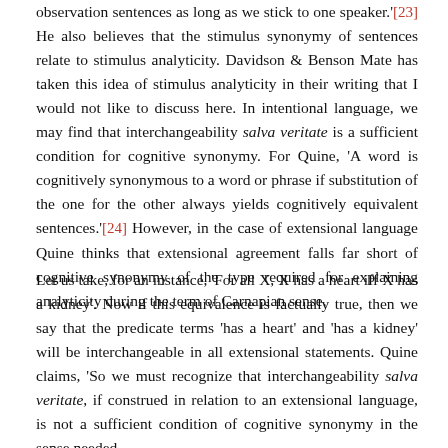observation sentences as long as we stick to one speaker.'[23] He also believes that the stimulus synonymy of sentences relate to stimulus analyticity. Davidson & Benson Mate has taken this idea of stimulus analyticity in their writing that I would not like to discuss here. In intentional language, we may find that interchangeability salva veritate is a sufficient condition for cognitive synonymy. For Quine, 'A word is cognitively synonymous to a word or phrase if substitution of the one for the other always yields cognitively equivalent sentences.'[24] However, in the case of extensional language Quine thinks that extensional agreement falls far short of cognitive synonymy of the type required for explaining analyticity during the term of Carnapian sense.
Let us take, for an instance, 'For all X, X has a heart iff X has a kidney'. Now if this equivalence is factually true, then we say that the predicate terms 'has a heart' and 'has a kidney' will be interchangeable in all extensional statements. Quine claims, 'So we must recognize that interchangeability salva veritate, if construed in relation to an extensional language, is not a sufficient condition of cognitive synonymy in the sense needed